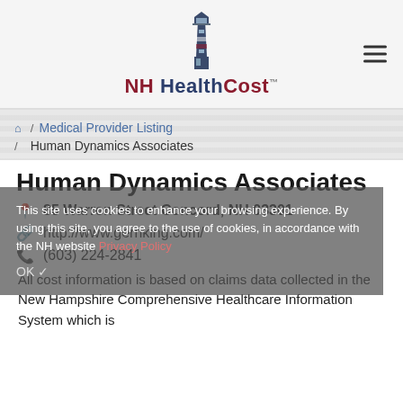[Figure (logo): NH HealthCost logo with lighthouse icon and text 'NH HealthCost TM']
Medical Provider Listing
Human Dynamics Associates
Human Dynamics Associates
85 Warren Street Concord, NH 03301
http://www.gerriking.com/
(603) 224-2841
This site uses cookies to enhance your browsing experience. By using this site, you agree to the use of cookies, in accordance with the NH website Privacy Policy
All cost information is based on claims data collected in the New Hampshire Comprehensive Healthcare Information System which is